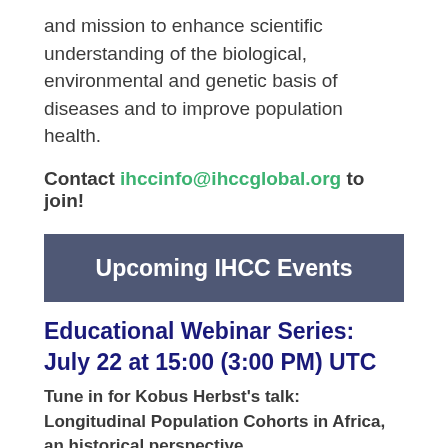and mission to enhance scientific understanding of the biological, environmental and genetic basis of diseases and to improve population health.
Contact ihccinfo@ihccglobal.org to join!
Upcoming IHCC Events
Educational Webinar Series: July 22 at 15:00 (3:00 PM) UTC
Tune in for Kobus Herbst's talk: Longitudinal Population Cohorts in Africa, an historical perspective